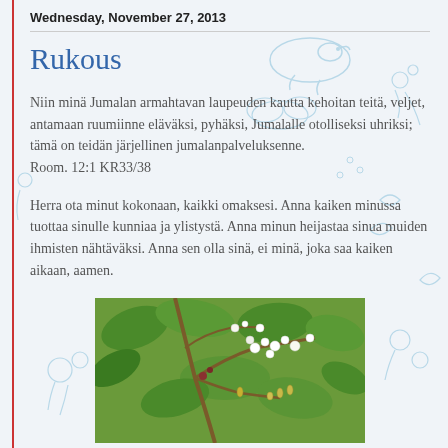Wednesday, November 27, 2013
Rukous
Niin minä Jumalan armahtavan laupeuden kautta kehoitan teitä, veljet, antamaan ruumiinne eläväksi, pyhäksi, Jumalalle otolliseksi uhriksi; tämä on teidän järjellinen jumalanpalveluksenne.
Room. 12:1 KR33/38
Herra ota minut kokonaan, kaikki omaksesi. Anna kaiken minussa tuottaa sinulle kunniaa ja ylistystä. Anna minun heijastaa sinua muiden ihmisten nähtäväksi. Anna sen olla sinä, ei minä, joka saa kaiken aikaan, aamen.
[Figure (photo): Close-up photo of a plant branch with small white flowers and green leaves]